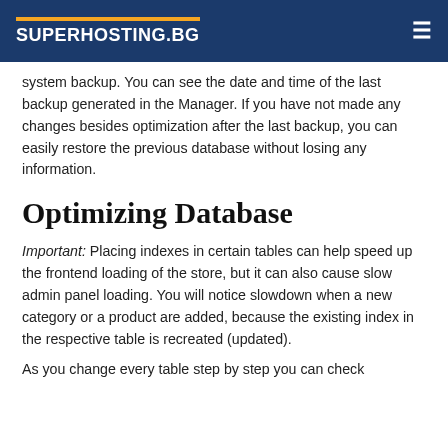SUPERHOSTING.BG
system backup. You can see the date and time of the last backup generated in the Manager. If you have not made any changes besides optimization after the last backup, you can easily restore the previous database without losing any information.
Optimizing Database
Important: Placing indexes in certain tables can help speed up the frontend loading of the store, but it can also cause slow admin panel loading. You will notice slowdown when a new category or a product are added, because the existing index in the respective table is recreated (updated).
As you change every table step by step you can check